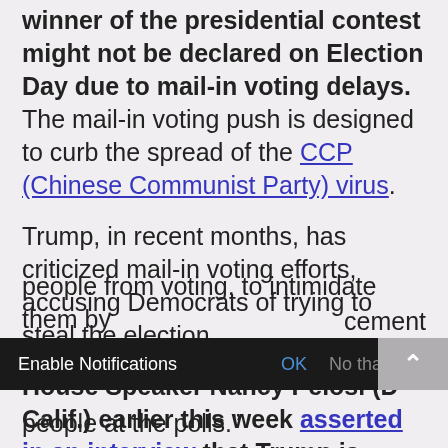winner of the presidential contest might not be declared on Election Day due to mail-in voting delays. The mail-in voting push is designed to curb the spread of the CCP (Chinese Communist Party) virus.
Trump, in recent months, has criticized mail-in voting efforts, accusing Democrats of trying to steal the election.
House Speaker Nancy Pelosi (D-Calif.) earlier this week asserted in an interview that Trump is trying "to scare people from voting, to intimidate them by [some] enforcement"
people at the polls."